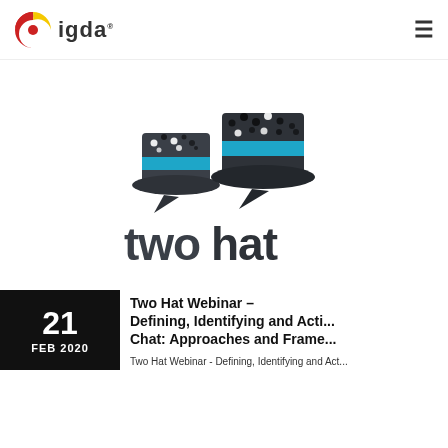igda
[Figure (logo): Two Hat logo — two dark top hats with blue bands and speech bubble shapes, with 'twohat' text below in dark grey]
Two Hat Webinar – Defining, Identifying and Acting on Toxic Chat: Approaches and Frameworks
Two Hat Webinar - Defining, Identifying and Acting...